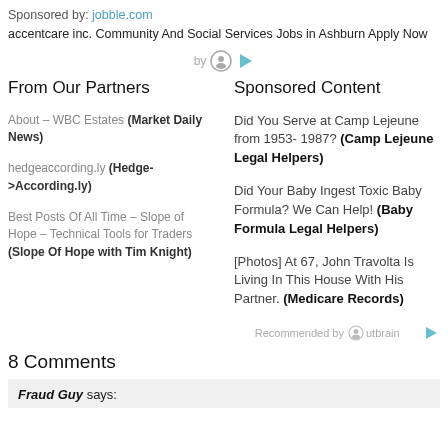Sponsored by: jobble.com accentcare inc. Community And Social Services Jobs in Ashburn Apply Now
by [outbrain icons]
From Our Partners
Sponsored Content
About – WBC Estates (Market Daily News)
hedgeaccording.ly (Hedge->According.ly)
Best Posts Of All Time – Slope of Hope – Technical Tools for Traders (Slope Of Hope with Tim Knight)
Did You Serve at Camp Lejeune from 1953- 1987? (Camp Lejeune Legal Helpers)
Did Your Baby Ingest Toxic Baby Formula? We Can Help! (Baby Formula Legal Helpers)
[Photos] At 67, John Travolta Is Living In This House With His Partner. (Medicare Records)
Recommended by Outbrain
8 Comments
Fraud Guy says: